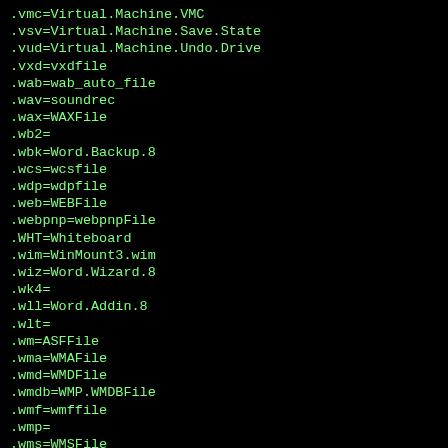[Figure (screenshot): Black terminal/code panel showing file extension to file type mappings in green monospace text. Lines visible: .vmc=Virtual.Machine.VMC, .vsv=Virtual.Machine.Save.State, .vud=Virtual.Machine.Undo.Drive, .vxd=vxdfile, .wab=wab_auto_file, .wav=soundrec, .wax=WAXFile, .wb2=, .wbk=Word.Backup.8, .wcs=wcsfile, .wdp=wdpfile, .web=WEBFile, .webpnp=webpnpFile, .WHT=Whiteboard, .wim=WinMount3.wim, .wiz=Word.Wizard.8, .wk4=, .wll=Word.Addin.8, .wlt=, .wm=ASFFile, .wma=WMAFile, .wmd=WMDFile, .wmdb=WMP.WMDBFile, .wmf=wmffile, .wmp=, .wms=WMSFile (partially visible)]
This website uses cookies to ensure you get the best experience on our website Infos OK